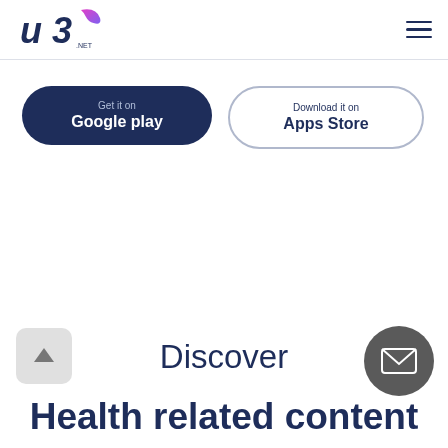u3.net — navigation header with logo and hamburger menu
Get it on Google play
Download it on Apps Store
Discover
Health related content